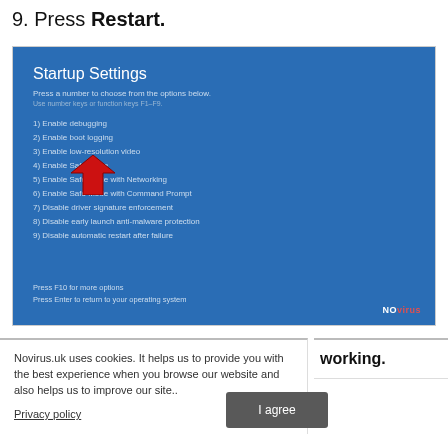9. Press Restart.
[Figure (screenshot): Windows Startup Settings blue screen showing numbered options including Enable debugging, Enable boot logging, Enable low-resolution video, Enable Safe Mode, Enable Safe Mode with Networking, Enable Safe Mode with Command Prompt, Disable driver signature enforcement, Disable early launch anti-malware protection, Disable automatic restart after failure. A red arrow cursor points to option 6. Footer shows Press F10 for more options and Press Enter to return to your operating system. Novirus logo in bottom right.]
Novirus.uk uses cookies. It helps us to provide you with the best experience when you browse our website and also helps us to improve our site..
working.
Privacy policy
I agree